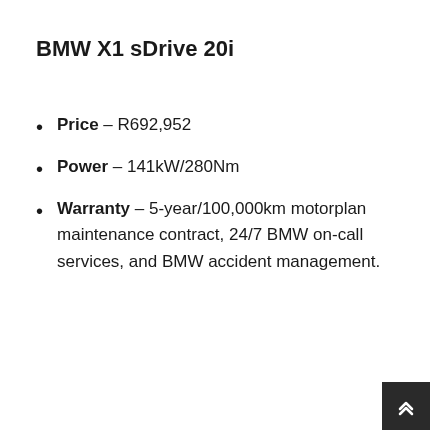BMW X1 sDrive 20i
Price – R692,952
Power – 141kW/280Nm
Warranty – 5-year/100,000km motorplan maintenance contract, 24/7 BMW on-call services, and BMW accident management.